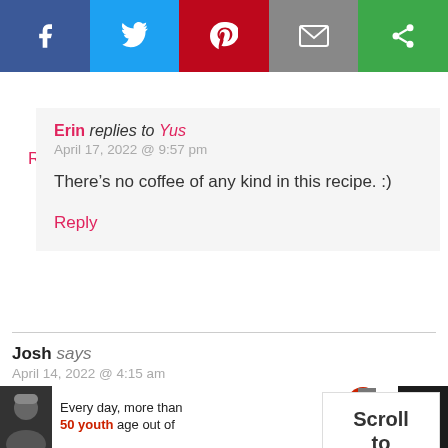[Figure (other): Social sharing bar with Facebook (blue), Twitter (light blue), Pinterest (red), Email (gray), and share (green) buttons]
Reply
Erin replies to Yus
April 17, 2022 @ 9:57 pm

There’s no coffee of any kind in this recipe. :)

Reply
Josh says
April 14, 2022 @ 4:15 am

Hi Erin!

I’d like to make this cake with mocha f
[Figure (other): Scroll to top button widget]
[Figure (other): Advertisement banner: Dave Thomas Foundation for Adoption. Every day, more than 50 youth age out of. Person in winter hat photo on left.]